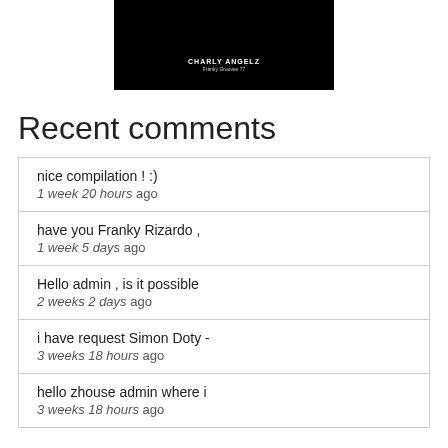[Figure (photo): Black album cover image with white text 'CHARLY ANGELZ' and subtitle 'Franky Grooves 77']
Recent comments
nice compilation ! :)
1 week 20 hours ago
have you Franky Rizardo ,
1 week 5 days ago
Hello admin , is it possible
2 weeks 2 days ago
i have request Simon Doty -
3 weeks 18 hours ago
hello zhouse admin where i
3 weeks 18 hours ago